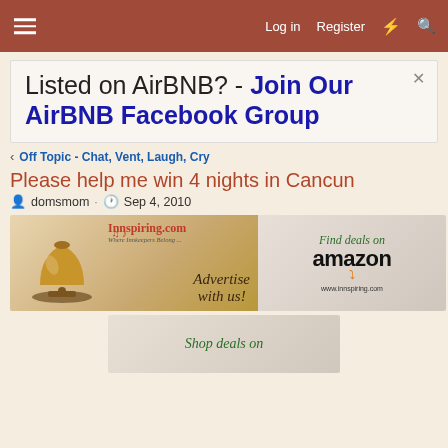≡  Log in  Register  ⚡  🔍
Listed on AirBNB? - Join Our AirBNB Facebook Group
< Off Topic - Chat, Vent, Laugh, Cry
Please help me win 4 nights in Cancun
domsmom · Sep 4, 2010
[Figure (illustration): Innspiring.com 'Advertise with us!' banner ad with hotel bell image]
[Figure (illustration): Find deals on amazon - www.innspiring.com banner ad]
[Figure (illustration): Shop deals on [amazon] partial banner ad at bottom]